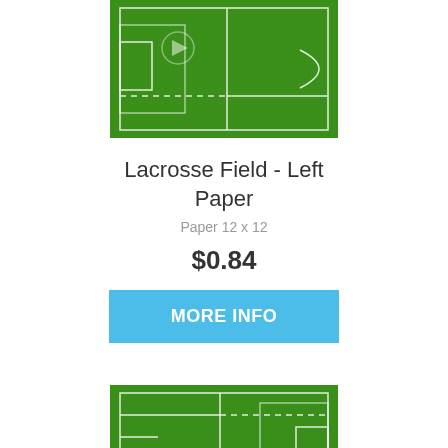[Figure (illustration): Top portion of a lacrosse field paper with green grass texture and white field lines, showing left side of field with center circle, goal area, and dashed lines]
Lacrosse Field - Left Paper
Paper 12 x 12
$0.84
MORE INFO
[Figure (illustration): Bottom portion of a lacrosse field paper with green grass texture and white field lines, showing right side of field with goal arc, dashed lines, and center circle arrow]